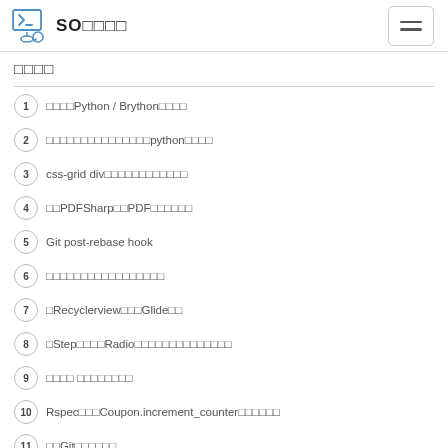SO□□□□
□□□□
1 □□□□Python / Brython□□□□
2 □□□□□□□□□□□□□□□python□□□□
3 css-grid div□□□□□□□□□□□□
4 □□PDFSharp□□PDF□□□□□□□
5 Git post-rebase hook
6 □□□□□□□□□□□□□□□□□
7 □Recyclerview□□□Glide□□
8 □Step□□□□Radio□□□□□□□□□□□□□□
9 □□□□ □□□□□□□□□
10 Rspec□□□Coupon.increment_counter□□□□□□
11 □□Git□□□□□□□
12 □□□□□□□□□□□□